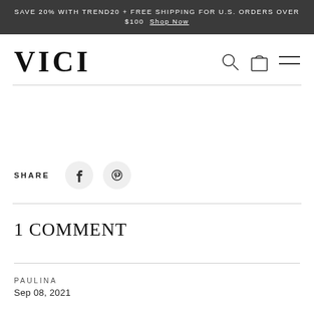SAVE 20% WITH TREND20 + FREE SHIPPING FOR U.S. ORDERS OVER $100 Shop Now
VICI
SHARE
1 COMMENT
PAULINA
Sep 08, 2021